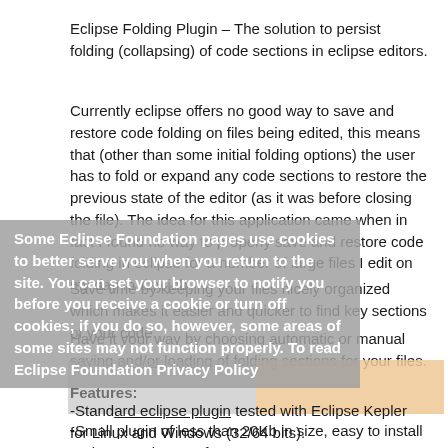Eclipse Folding Plugin – The solution to persist folding (collapsing) of code sections in eclipse editors.
Currently eclipse offers no good way to save and restore code folding on files being edited, this means that (other than some initial folding options) the user has to fold or expand any code sections to restore the previous state of the editor (as it was before closing the file). The idea for this application came when in fact I found no way to properly save and restore code folding in eclipse for a number of large files I edit on my day to day job.
Save time by keeping your files nicely organized which makes it easier and quicker to find key sections of your code.
Have it your way by choosing automatic or manual saving and/or loading of folding sections for your files.
Some Eclipse Foundation pages use cookies to better serve you when you return to the site. You can set your browser to notify you before you receive a cookie or turn off cookies; if you do so, however, some areas of some sites may not function properly. To read Eclipse Foundation Privacy Policy
Features:
-Standard eclipse plugin tested with Eclipse Kepler for Linux and Windows (32/64 bits).
-Small plugin of less than 20Kb in size, easy to install and easy to keep safe.